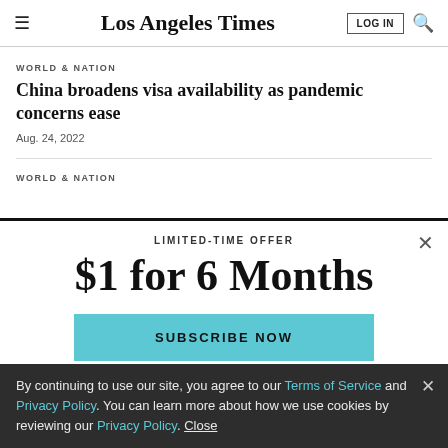Los Angeles Times
WORLD & NATION
China broadens visa availability as pandemic concerns ease
Aug. 24, 2022
WORLD & NATION
LIMITED-TIME OFFER
$1 for 6 Months
SUBSCRIBE NOW
By continuing to use our site, you agree to our Terms of Service and Privacy Policy. You can learn more about how we use cookies by reviewing our Privacy Policy. Close